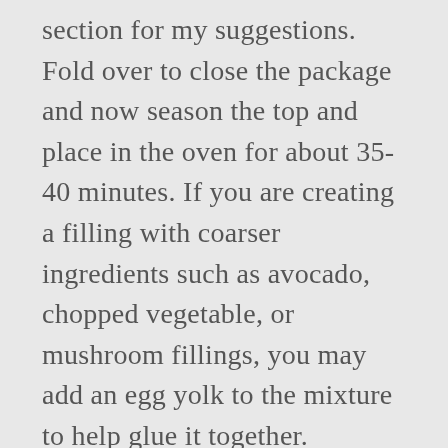section for my suggestions. Fold over to close the package and now season the top and place in the oven for about 35-40 minutes. If you are creating a filling with coarser ingredients such as avocado, chopped vegetable, or mushroom fillings, you may add an egg yolk to the mixture to help glue it together. February 5, ... Well, you crank up the heat and hope for the best. Place the chicken over the garlic, season with salt and pepper and spread the cream cheese mixture on top. Delicious tender flavorful. Cons: None!! Bake until the chicken is no longer pink in the center or until an instant-read thermometer registers 170 degrees F, about 20 minutes. Green Chile and Cheese are the flavors in this